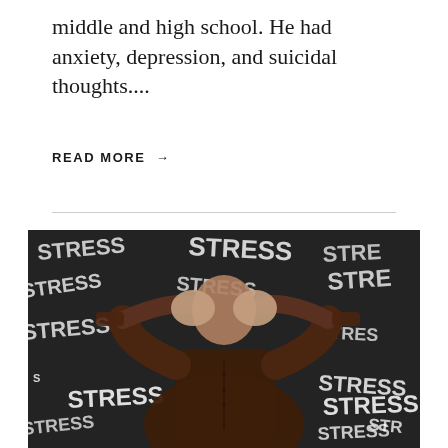middle and high school. He had anxiety, depression, and suicidal thoughts....
READ MORE →
[Figure (photo): A person in a dark brown shirt holding their head in their hands, standing against a dark chalkboard covered with the word 'STRESS' written in white chalk in various sizes and styles all over the background.]